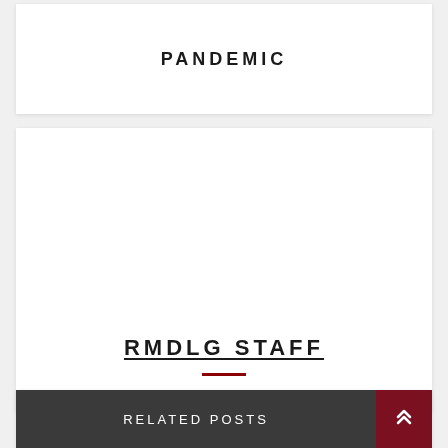PANDEMIC
RMDLG STAFF
RELATED POSTS